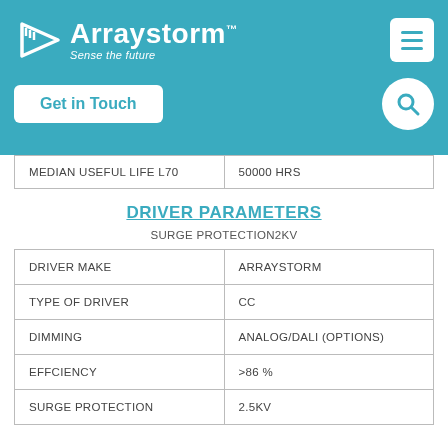[Figure (logo): Arraystorm logo with triangular arrow icon and tagline 'Sense the future' on teal background, with hamburger menu button and search circle]
[Figure (other): Get in Touch button on teal header background]
| MEDIAN USEFUL LIFE L70 | 50000 HRS |
DRIVER PARAMETERS
SURGE PROTECTION2KV
| DRIVER MAKE | ARRAYSTORM |
| TYPE OF DRIVER | CC |
| DIMMING | ANALOG/DALI (OPTIONS) |
| EFFCIENCY | >86 % |
| SURGE PROTECTION | 2.5KV |